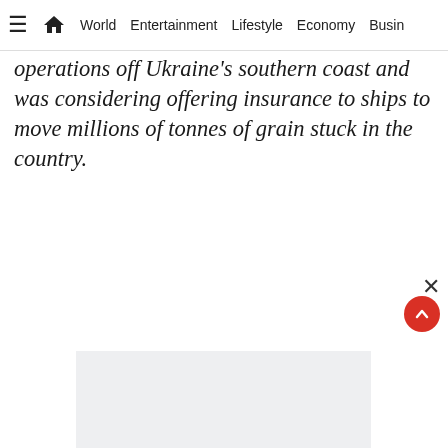≡  🏠  World  Entertainment  Lifestyle  Economy  Busin…
operations off Ukraine's southern coast and was considering offering insurance to ships to move millions of tonnes of grain stuck in the country.
[Figure (other): Light gray advertisement placeholder box]
[Figure (other): Light gray advertisement placeholder box at bottom]